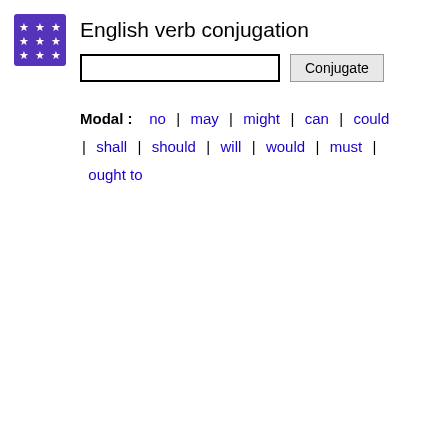[Figure (logo): Blue/purple square logo with white stars arranged in a 3x3 grid pattern]
English verb conjugation
Modal : no | may | might | can | could | shall | should | will | would | must | ought to